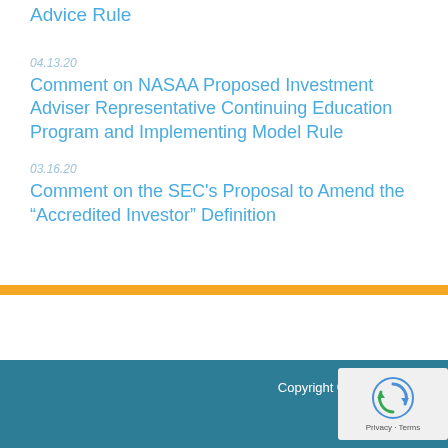Advice Rule
04.13.20
Comment on NASAA Proposed Investment Adviser Representative Continuing Education Program and Implementing Model Rule
03.16.20
Comment on the SEC’s Proposal to Amend the “Accredited Investor” Definition
Copyright © 2014 Financial Planning Coalition. All rights reserved.